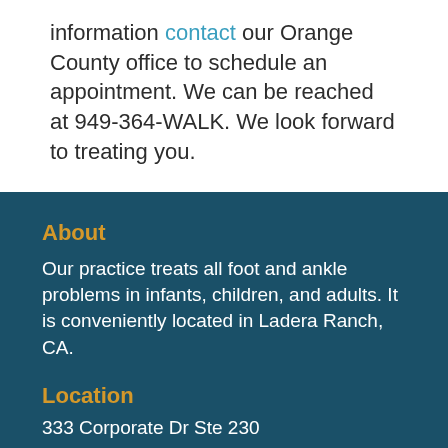information contact our Orange County office to schedule an appointment. We can be reached at 949-364-WALK. We look forward to treating you.
About
Our practice treats all foot and ankle problems in infants, children, and adults. It is conveniently located in Ladera Ranch, CA.
Location
333 Corporate Dr Ste 230